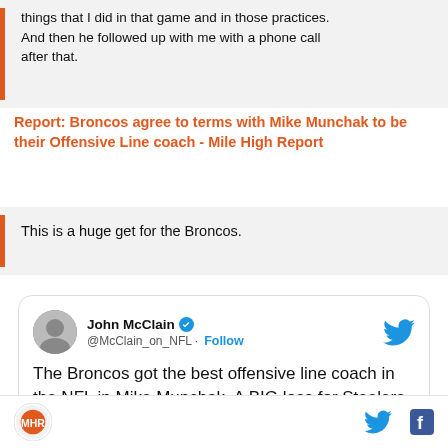things that I did in that game and in those practices. And then he followed up with me with a phone call after that.
Report: Broncos agree to terms with Mike Munchak to be their Offensive Line coach - Mile High Report
This is a huge get for the Broncos.
[Figure (screenshot): Embedded tweet from John McClain (@McClain_on_NFL) with Twitter bird logo and Follow button. Tweet text: The Broncos got the best offensive line coach in the NFL in Mike Munchak. A BIG loss for Steelers]
Site logo, Twitter and Facebook social share icons